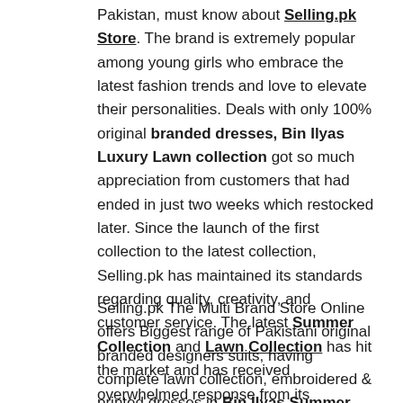Pakistan, must know about Selling.pk Store. The brand is extremely popular among young girls who embrace the latest fashion trends and love to elevate their personalities. Deals with only 100% original branded dresses, Bin Ilyas Luxury Lawn collection got so much appreciation from customers that had ended in just two weeks which restocked later. Since the launch of the first collection to the latest collection, Selling.pk has maintained its standards regarding quality, creativity, and customer service. The latest Summer Collection and Lawn Collection has hit the market and has received overwhelmed response from its respective customers as always.
Selling.pk The Multi Brand Store Online offers Biggest range of Pakistani original branded designers suits, having complete lawn collection, embroidered & printed dresses in Bin Ilyas Summer Collection 2022. The vision of the Selling.pk The Multi Brand Store is to revive the traditional crafts of handloom and utilize the skills of local craftsmen so benefit the country and the fashion industry. The results are not hidden from anyone